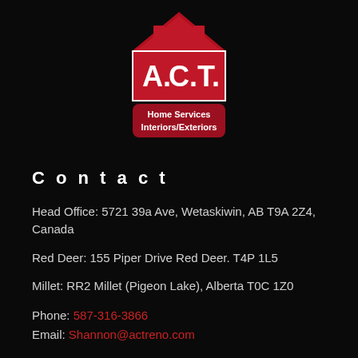[Figure (logo): A.C.T. Home Services Interiors/Exteriors logo with a house graphic in red and white on dark background]
Contact
Head Office: 5721 39a Ave, Wetaskiwin, AB T9A 2Z4, Canada
Red Deer: 155 Piper Drive Red Deer. T4P 1L5
Millet: RR2 Millet (Pigeon Lake), Alberta T0C 1Z0
Phone: 587-316-3866
Email: Shannon@actreno.com